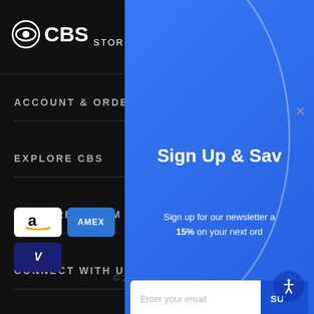CBS STORE
ACCOUNT & ORDERING
EXPLORE CBS
EXPLORE PARAMOUNT ST...
CONNECT WITH US
[Figure (screenshot): Payment method badges: Amazon, AMEX, Apple Pay, Discover, Visa]
© 20...
[Figure (screenshot): Blue newsletter popup overlay with curved arc decoration, showing 'Sign Up & Save' heading, newsletter signup text promising 15% off, email input field, and accessibility icon]